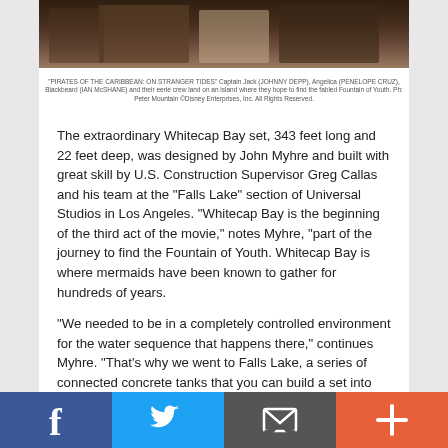[Figure (photo): Pirates of the Caribbean: On Stranger Tides cast photo showing Captain Jack, Angelica, Blackbeard and crew on an island]
"PIRATES OF THE CARIBBEAN: ON STRANGER TIDES" Captain Jack (JOHNNY DEPP), Angelica (PENELOPE CRUZ), Blackbeard (IAN McSHANE) and their eerie crew land on an island where they hope to find the fabled Fountain of Youth. Ph: Peter Mountain ©Disney Enterprises, Inc. All Rights Reserved.
The extraordinary Whitecap Bay set, 343 feet long and 22 feet deep, was designed by John Myhre and built with great skill by U.S. Construction Supervisor Greg Callas and his team at the “Falls Lake” section of Universal Studios in Los Angeles. “Whitecap Bay is the beginning of the third act of the movie,” notes Myhre, “part of the journey to find the Fountain of Youth. Whitecap Bay is where mermaids have been known to gather for hundreds of years.
“We needed to be in a completely controlled environment for the water sequence that happens there,” continues Myhre. “That’s why we went to Falls Lake, a series of connected concrete tanks that you can build a set into and on top of, and then flood. It was the only way you could really shoot the sequence on water and not put actors and stunt players in a dangerous situation.” Adds Rob Marshall, “That was complicated and long, all-night shoots, with a lot of stunt work, and a lot of underwater work. All of our characters were in wetsuits, being thrown around. So that was, without a
[Figure (infographic): Social media sharing bar with Facebook, Twitter, email, and plus/share buttons]